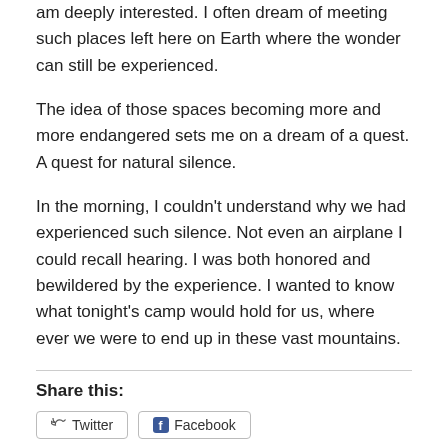am deeply interested. I often dream of meeting such places left here on Earth where the wonder can still be experienced.
The idea of those spaces becoming more and more endangered sets me on a dream of a quest. A quest for natural silence.
In the morning, I couldn't understand why we had experienced such silence. Not even an airplane I could recall hearing. I was both honored and bewildered by the experience. I wanted to know what tonight's camp would hold for us, where ever we were to end up in these vast mountains.
Share this:
Twitter  Facebook